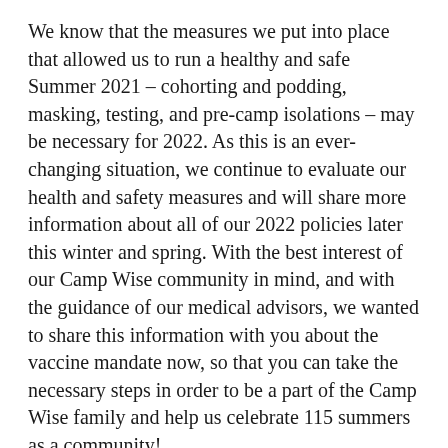We know that the measures we put into place that allowed us to run a healthy and safe Summer 2021 – cohorting and podding, masking, testing, and pre-camp isolations – may be necessary for 2022. As this is an ever-changing situation, we continue to evaluate our health and safety measures and will share more information about all of our 2022 policies later this winter and spring. With the best interest of our Camp Wise community in mind, and with the guidance of our medical advisors, we wanted to share this information with you about the vaccine mandate now, so that you can take the necessary steps in order to be a part of the Camp Wise family and help us celebrate 115 summers as a community!
To ensure we have a safe and healthy start to each session, we will require both pre-camp and arrival